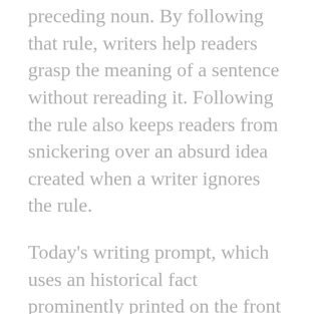preceding noun. By following that rule, writers help readers grasp the meaning of a sentence without rereading it. Following the rule also keeps readers from snickering over an absurd idea created when a writer ignores the rule.
Today's writing prompt, which uses an historical fact prominently printed on the front of a rural chamber of commerce's newsletter, would help your students learn why that rule is a rule.
Begin the mini-lesson with a statement of the rule. To make sure students pay attention, write the rule on the board or display just the rule using whatever technology you have for projecting information. To make sure students understand the rule, restate it at least once using